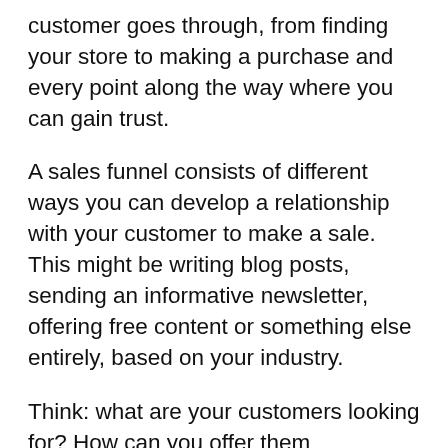customer goes through, from finding your store to making a purchase and every point along the way where you can gain trust.
A sales funnel consists of different ways you can develop a relationship with your customer to make a sale. This might be writing blog posts, sending an informative newsletter, offering free content or something else entirely, based on your industry.
Think: what are your customers looking for? How can you offer them something to make them trust you? What can you give that creates intrigue for your products? All of these questions shape how you build a sales